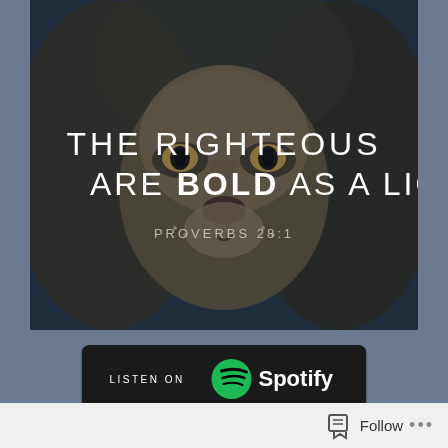[Figure (photo): Close-up photo of a lion's face with text overlay: 'THE RIGHTEOUS ARE BOLD AS A LION.' and 'PROVERBS 28:1' on a dark blue-toned background]
[Figure (logo): Listen on Spotify button — black rounded rectangle with Spotify logo and text]
Living with Courage
Hello again, I'm Randy Gaudet, founder and director of All Thailand Experiences. Those who
Follow ...